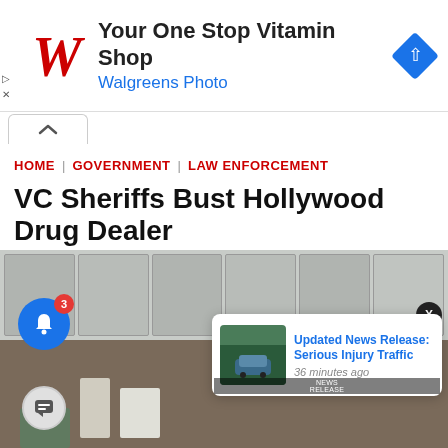[Figure (screenshot): Walgreens advertisement banner: red W logo, text 'Your One Stop Vitamin Shop' and 'Walgreens Photo' in blue, blue map direction diamond icon on right]
[Figure (screenshot): Collapse/minimize tab arrow upward]
HOME | GOVERNMENT | LAW ENFORCEMENT
VC Sheriffs Bust Hollywood Drug Dealer
[Figure (photo): Photo of drug evidence on a table with police car thumbnail in notification popup. Notification reads: 'Updated News Release: Serious Injury Traffic' - 36 minutes ago]
Updated News Release: Serious Injury Traffic
36 minutes ago